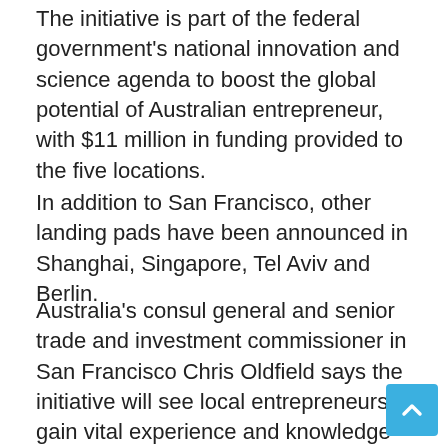The initiative is part of the federal government's national innovation and science agenda to boost the global potential of Australian entrepreneur, with $11 million in funding provided to the five locations.
In addition to San Francisco, other landing pads have been announced in Shanghai, Singapore, Tel Aviv and Berlin.
Australia's consul general and senior trade and investment commissioner in San Francisco Chris Oldfield says the initiative will see local entrepreneurs gain vital experience and knowledge from the biggest tech markets in the world.
“We really want to see talented and committed entrepreneurs have every chance of success, success that will ultimately lead to successful job-creating businesses in Australia,” Oldfield tells StartupSmart.
“In San Francisco, there is a very active, highly supportive network of successful Australian entrepreneurs who really